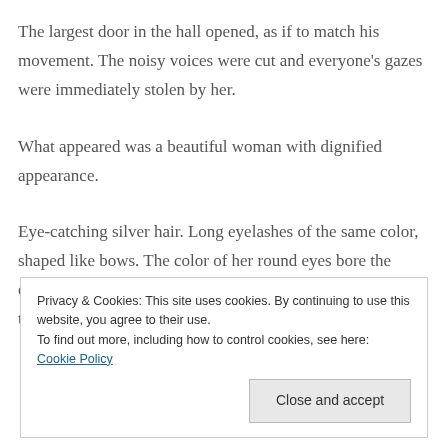The largest door in the hall opened, as if to match his movement. The noisy voices were cut and everyone's gazes were immediately stolen by her.
What appeared was a beautiful woman with dignified appearance.
Eye-catching silver hair. Long eyelashes of the same color, shaped like bows. The color of her round eyes bore the exact replica of the azure summer skies. Her lips were akin to
Privacy & Cookies: This site uses cookies. By continuing to use this website, you agree to their use.
To find out more, including how to control cookies, see here: Cookie Policy

Close and accept